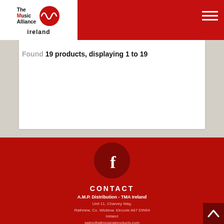The Music Alliance Ireland
Found 19 products, displaying 1 to 19
[Figure (logo): Facebook circular icon button in dark red]
CONTACT
A.M.P. Distribution - TMA Ireland
Unit 11, Charvey Way,
Rathnew, Co. Wicklow. Eircode A67 DW64
Ireland
sales@allmusicalproducts.com
+353 (0) 404 61617 / 61455